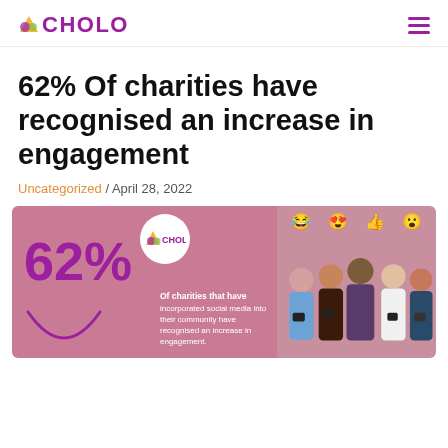CHOLO
62% Of charities have recognised an increase in engagement
Uncategorized / April 28, 2022
[Figure (infographic): Infographic showing '62%' in large purple text on a pink background with CHOLO logo, a smiley arc, and text 'Of charities that have incorporated social media into their community have recognised an increase in engagement.' Right side shows a group of people looking at phones with social media emoji reactions (laugh, heart-eyes, thumbs up, shocked).]